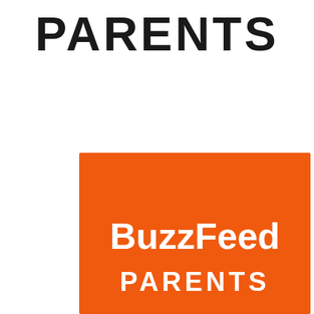[Figure (logo): BuzzFeed Parents logo — top portion shows 'PARENTS' text in large black uppercase letters on white background; bottom portion shows an orange square with 'BuzzFeed PARENTS' in white text where 'BuzzFeed' is in mixed case and 'PARENTS' is in uppercase below it.]